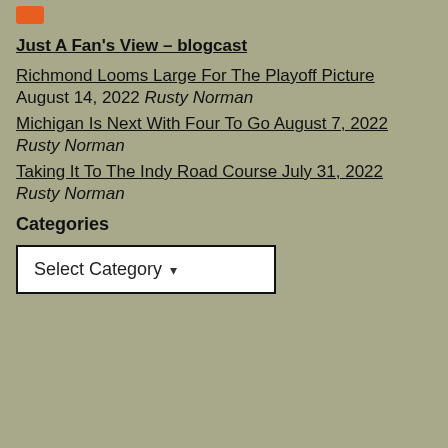[Figure (logo): Small orange rectangle logo]
Just A Fan's View – blogcast
Richmond Looms Large For The Playoff Picture
August 14, 2022 Rusty Norman
Michigan Is Next With Four To Go August 7, 2022
Rusty Norman
Taking It To The Indy Road Course July 31, 2022
Rusty Norman
Categories
Select Category